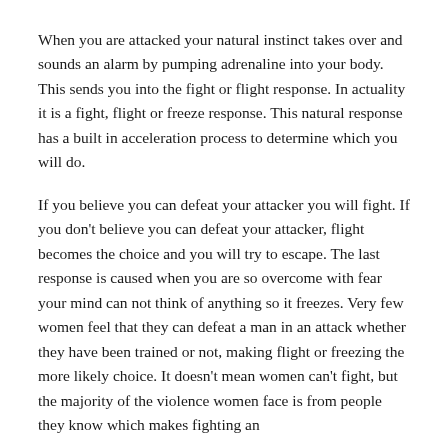When you are attacked your natural instinct takes over and sounds an alarm by pumping adrenaline into your body. This sends you into the fight or flight response. In actuality it is a fight, flight or freeze response. This natural response has a built in acceleration process to determine which you will do.
If you believe you can defeat your attacker you will fight. If you don't believe you can defeat your attacker, flight becomes the choice and you will try to escape. The last response is caused when you are so overcome with fear your mind can not think of anything so it freezes. Very few women feel that they can defeat a man in an attack whether they have been trained or not, making flight or freezing the more likely choice. It doesn't mean women can't fight, but the majority of the violence women face is from people they know which makes fighting an